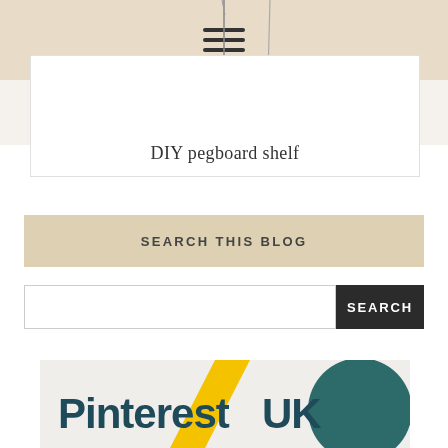[Figure (photo): Top portion of a lifestyle/DIY blog page header with beige background, showing kitchen utensils (whisks) hanging, and a hamburger menu icon]
DIY pegboard shelf
SEARCH THIS BLOG
[Figure (screenshot): Search input field with white background and a dark Search button]
[Figure (logo): Pinterest UK logo with yellow diagonal stripe and teal circle element on light grey background]